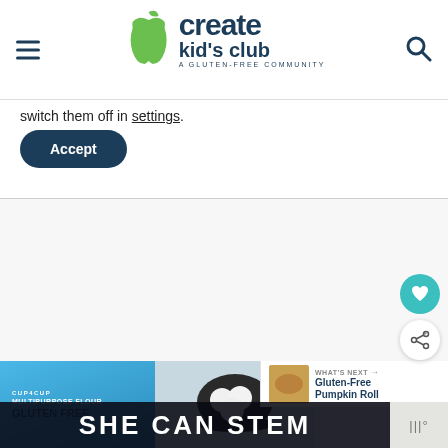[Figure (screenshot): Create Kid's Club website header with hamburger menu icon on left, green apple logo with 'create kid's club — A Gluten-Free Community' text in center, and search icon on right]
switch them off in settings.
[Figure (other): Accept button — dark navy rounded rectangle button with white 'Accept' text]
[Figure (photo): Baking ingredients: blue Cup4Cup Gluten-Free Multipurpose Flour bag, black bowl with three white eggs, and other baking items on a wooden surface. 'WHAT'S NEXT → Gluten-Free Pumpkin Roll' overlay panel on right. 'SHE CAN STEM' text banner at bottom.]